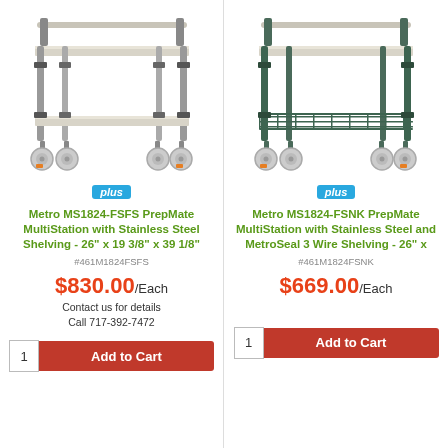[Figure (photo): Metro MS1824-FSFS PrepMate MultiStation cart with stainless steel shelving on casters]
[Figure (photo): Metro MS1824-FSNK PrepMate MultiStation cart with stainless steel and MetroSeal 3 wire shelving on casters]
plus
Metro MS1824-FSFS PrepMate MultiStation with Stainless Steel Shelving - 26" x 19 3/8" x 39 1/8"
#461M1824FSFS
$830.00/Each
Contact us for details
Call 717-392-7472
plus
Metro MS1824-FSNK PrepMate MultiStation with Stainless Steel and MetroSeal 3 Wire Shelving - 26" x
#461M1824FSNK
$669.00/Each